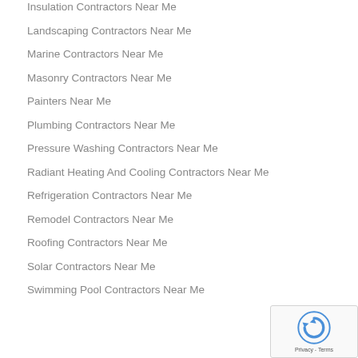Insulation Contractors Near Me
Landscaping Contractors Near Me
Marine Contractors Near Me
Masonry Contractors Near Me
Painters Near Me
Plumbing Contractors Near Me
Pressure Washing Contractors Near Me
Radiant Heating And Cooling Contractors Near Me
Refrigeration Contractors Near Me
Remodel Contractors Near Me
Roofing Contractors Near Me
Solar Contractors Near Me
Swimming Pool Contractors Near Me
[Figure (other): reCAPTCHA badge with logo and Privacy - Terms text]